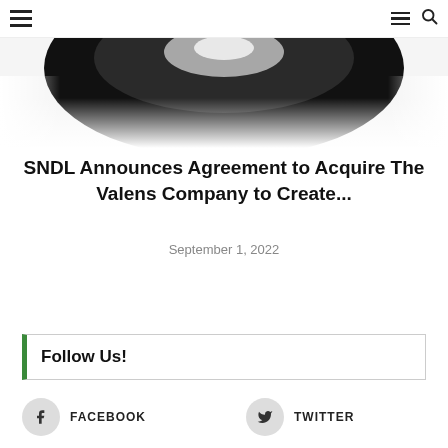Navigation header with hamburger menus and search icon
[Figure (photo): Dark gradient image, bottom portion of a circular/bowl shaped object on light background]
SNDL Announces Agreement to Acquire The Valens Company to Create...
September 1, 2022
Follow Us!
FACEBOOK
TWITTER